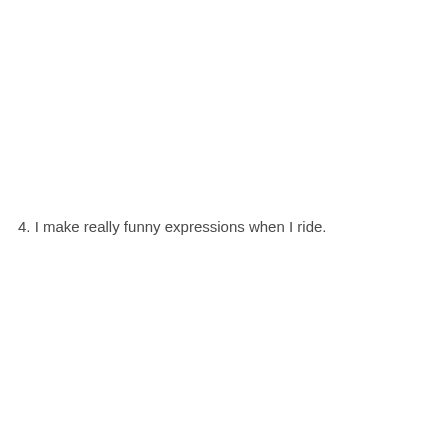4. I make really funny expressions when I ride.